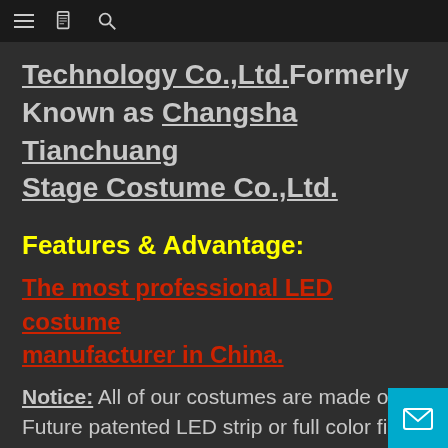[navigation bar with menu, book, and search icons]
Technology Co.,Ltd.Formerly Known as Changsha Tianchuang Stage Costume Co.,Ltd.
Features & Advantage:
The most professional LED costume manufacturer in China.
Notice: All of our costumes are made of Future patented LED strip or full color fiber optic. Not common LED strip in the market or traditional EL